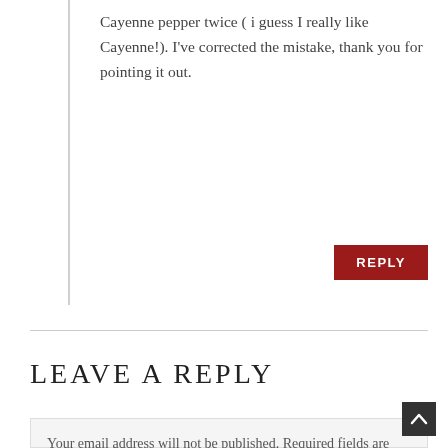Cayenne pepper twice ( i guess I really like Cayenne!). I've corrected the mistake, thank you for pointing it out.
REPLY
LEAVE A REPLY
Your email address will not be published. Required fields are marked *
Recipe Rating
Comment *